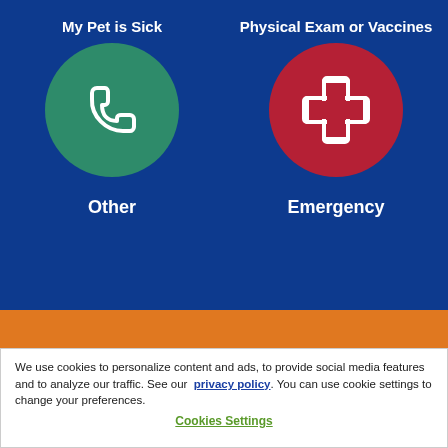My Pet is Sick
Physical Exam or Vaccines
[Figure (illustration): Green circle with white phone/call icon representing 'My Pet is Sick' option]
[Figure (illustration): Red circle with white medical cross icon representing 'Emergency' option]
Other
Emergency
We use cookies to personalize content and ads, to provide social media features and to analyze our traffic. See our privacy policy. You can use cookie settings to change your preferences.
Cookies Settings